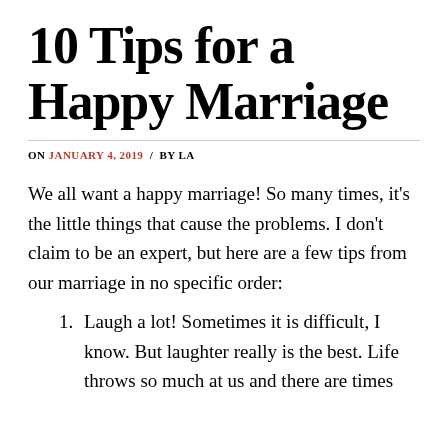10 Tips for a Happy Marriage
ON JANUARY 4, 2019 / BY LA
We all want a happy marriage! So many times, it's the little things that cause the problems. I don't claim to be an expert, but here are a few tips from our marriage in no specific order:
Laugh a lot! Sometimes it is difficult, I know. But laughter really is the best. Life throws so much at us and there are times